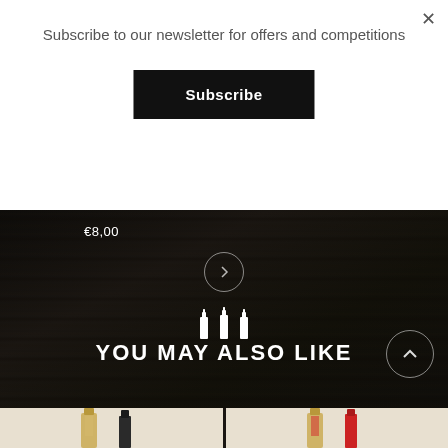Subscribe to our newsletter for offers and competitions
Subscribe
€8,00
YOU MAY ALSO LIKE
[Figure (photo): Two product cards showing wine bottles, left card has a decorated bottle and a dark bottle, right card has a decorated bottle and a red bottle]